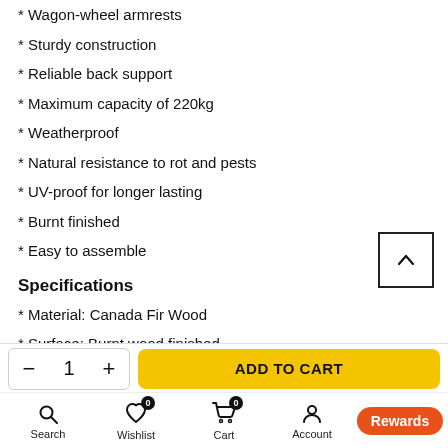* Wagon-wheel armrests
* Sturdy construction
* Reliable back support
* Maximum capacity of 220kg
* Weatherproof
* Natural resistance to rot and pests
* UV-proof for longer lasting
* Burnt finished
* Easy to assemble
Specifications
* Material: Canada Fir Wood
* Surface: Burnt wood finished
* Maximum capacity: 220kg
- 1 + | ADD TO CART | Search | Wishlist 0 | Cart 0 | Account | Shop | Rewards